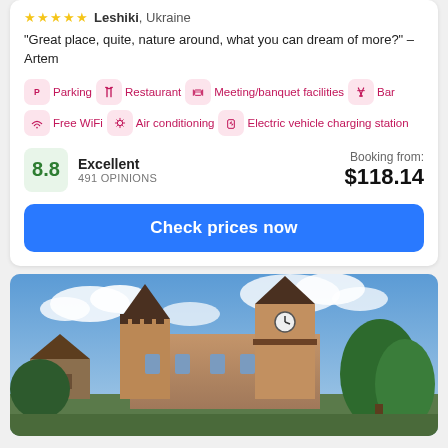★★★★★ Leshiki, Ukraine
"Great place, quite, nature around, what you can dream of more?" – Artem
Parking
Restaurant
Meeting/banquet facilities
Bar
Free WiFi
Air conditioning
Electric vehicle charging station
8.8 Excellent 491 OPINIONS
Booking from: $118.14
Check prices now
[Figure (photo): Castle-like hotel building with turrets and a clock tower, surrounded by trees under a blue sky with clouds]